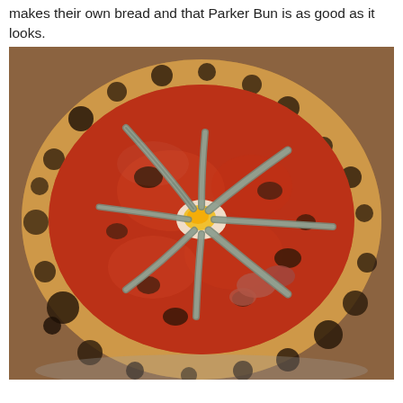makes their own bread and that Parker Bun is as good as it looks.
[Figure (photo): A Neapolitan-style pizza topped with tomato sauce, anchovies arranged in a star/spoke pattern radiating from the center, a fried egg in the middle, olives, mushrooms, and other toppings. The crust is characteristic charred Neapolitan style with dark spots. The pizza is on a metal tray on a wooden surface.]